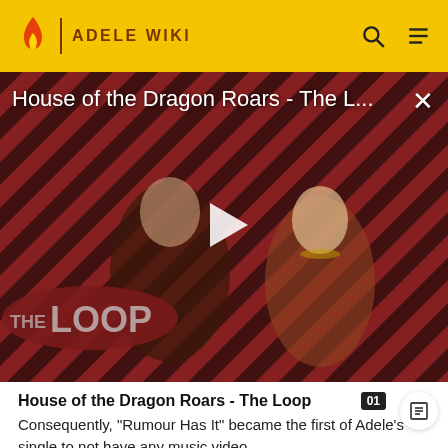ADELE WIKI
[Figure (screenshot): Video thumbnail for 'House of the Dragon Roars - The L...' showing two characters in medieval fantasy costumes against a diagonal red and black striped background. A white play button triangle is centered. 'THE LOOP' logo appears in bottom left. An X close button is top right.]
House of the Dragon Roars - The Loop
Consequently, "Rumour Has It" became the first of Adele's single to not have any music video.
Live performances and cover